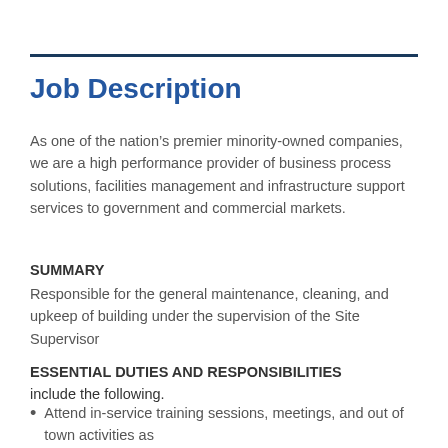Job Description
As one of the nation’s premier minority-owned companies, we are a high performance provider of business process solutions, facilities management and infrastructure support services to government and commercial markets.
SUMMARY
Responsible for the general maintenance, cleaning, and upkeep of building under the supervision of the Site Supervisor
ESSENTIAL DUTIES AND RESPONSIBILITIES include the following.
Attend in-service training sessions, meetings, and out of town activities as